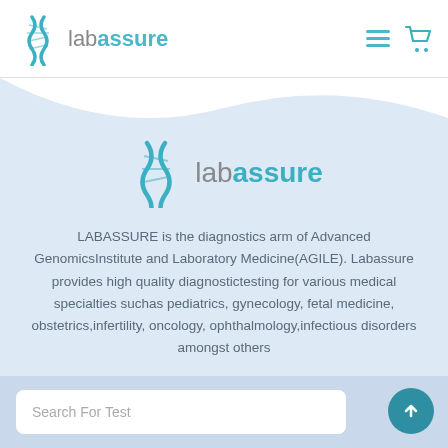[Figure (logo): LabAssure logo with DNA helix icon and text 'labassure' in header navigation bar]
[Figure (logo): LabAssure logo centered on light blue background — large DNA helix icon and 'labassure' text]
LABASSURE is the diagnostics arm of Advanced GenomicsInstitute and Laboratory Medicine(AGILE). Labassure provides high quality diagnostictesting for various medical specialties suchas pediatrics, gynecology, fetal medicine, obstetrics,infertility, oncology, ophthalmology,infectious disorders amongst others
Search For Test